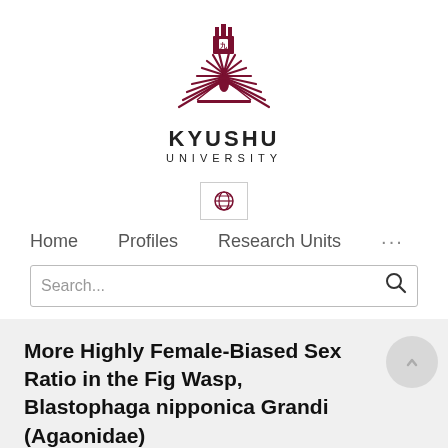[Figure (logo): Kyushu University logo — a sunburst/fan design in dark red/maroon with a castle-like crest at top center, and stylized feather/ray shapes radiating outward]
KYUSHU
UNIVERSITY
[Figure (other): Globe icon in a bordered box, representing language/region selector]
Home   Profiles   Research Units   ...
Search...
More Highly Female-Biased Sex Ratio in the Fig Wasp, Blastophaga nipponica Grandi (Agaonidae)
Mataichi Kinoshita, Eiji Kameno, Tatsuharu Yake...